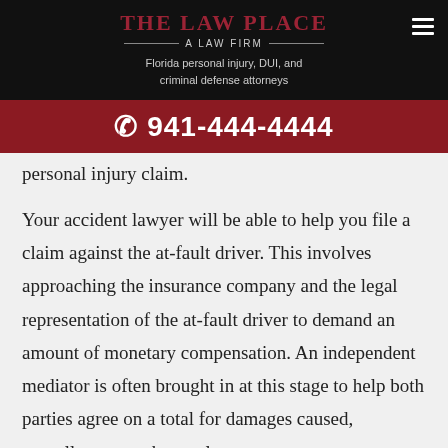THE LAW PLACE — A LAW FIRM
Florida personal injury, DUI, and criminal defense attorneys
☎ 941-444-4444
personal injury claim.
Your accident lawyer will be able to help you file a claim against the at-fault driver. This involves approaching the insurance company and the legal representation of the at-fault driver to demand an amount of monetary compensation. An independent mediator is often brought in at this stage to help both parties agree on a total for damages caused, as well as to reach a settlement agreement